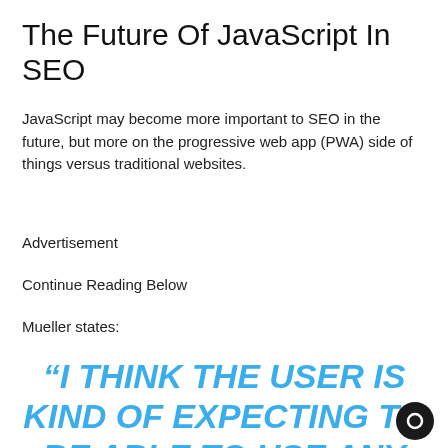The Future Of JavaScript In SEO
JavaScript may become more important to SEO in the future, but more on the progressive web app (PWA) side of things versus traditional websites.
Advertisement
Continue Reading Below
Mueller states:
“I THINK THE USER IS KIND OF EXPECTING TO BE ABLE TO USE ANY APP THAT TH…